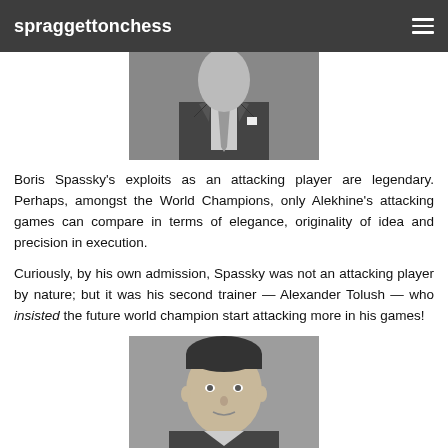spraggettonchess
[Figure (photo): Black and white photo of Boris Spassky in a suit and tie, upper body visible, cropped at the top]
Boris Spassky's exploits as an attacking player are legendary. Perhaps, amongst the World Champions, only Alekhine's attacking games can compare in terms of elegance, originality of idea and precision in execution.
Curiously, by his own admission, Spassky was not an attacking player by nature; but it was his second trainer — Alexander Tolush — who insisted the future world champion start attacking more in his games!
[Figure (photo): Black and white portrait photo of a man (Alexander Tolush), face and upper shoulders visible]